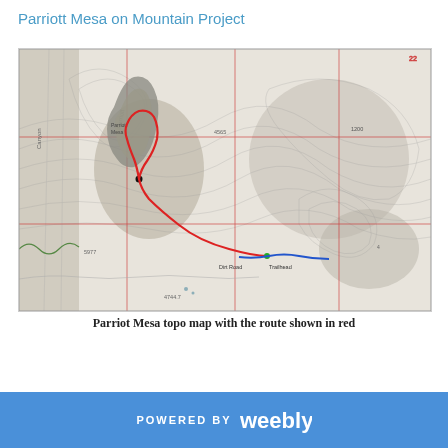Parriott Mesa on Mountain Project
[Figure (map): Topographic map of Parriott Mesa with a hiking route shown in red, a blue road segment, and a green dot marking a trailhead. The map shows contour lines, canyon terrain, labeled roads including 'Dirt Road' and 'Trailhead', and grid lines.]
Parriot Mesa topo map with the route shown in red
POWERED BY weebly